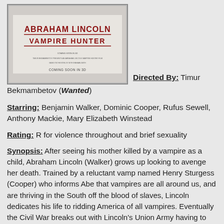[Figure (photo): Movie poster for Abraham Lincoln: Vampire Hunter showing the title text in red and white against a light background with 'COMING SOON IN 3D' text at the bottom.]
Directed By: Timur Bekmambetov (Wanted)
Starring: Benjamin Walker, Dominic Cooper, Rufus Sewell, Anthony Mackie, Mary Elizabeth Winstead
Rating: R for violence throughout and brief sexuality
Synopsis: After seeing his mother killed by a vampire as a child, Abraham Lincoln (Walker) grows up looking to avenge her death. Trained by a reluctant vamp named Henry Sturgess (Cooper) who informs Abe that vampires are all around us, and are thriving in the South off the blood of slaves, Lincoln dedicates his life to ridding America of all vampires. Eventually the Civil War breaks out with Lincoln's Union Army having to face a Confederate Army full of the undead.
REVIEW